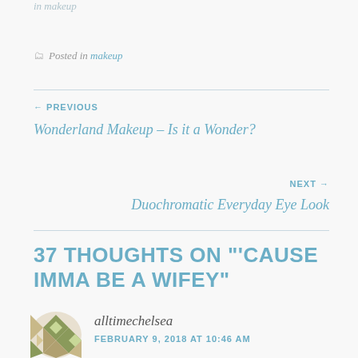in makeup
Posted in makeup
← PREVIOUS
Wonderland Makeup – Is it a Wonder?
NEXT →
Duochromatic Everyday Eye Look
37 THOUGHTS ON "'CAUSE IMMA BE A WIFEY"
alltimechelsea
FEBRUARY 9, 2018 AT 10:46 AM